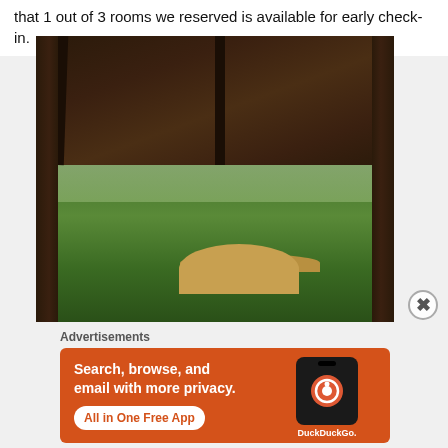that 1 out of 3 rooms we reserved is available for early check-in.
[Figure (photo): Outdoor tropical resort area viewed from under a dark thatched roof structure with wooden columns, lush green trees and vegetation in background, thatched umbrella/pavilion visible in the middle distance]
Advertisements
[Figure (other): DuckDuckGo advertisement banner with orange background showing text 'Search, browse, and email with more privacy. All in One Free App' with a phone showing the DuckDuckGo logo and 'DuckDuckGo.' text]